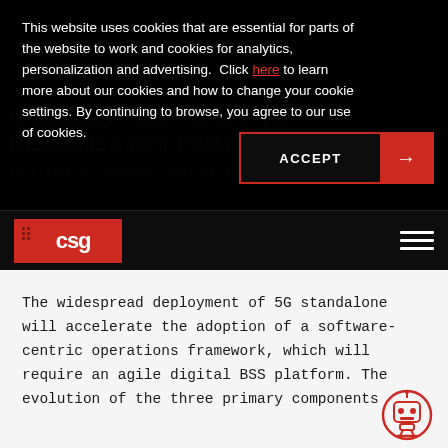This website uses cookies that are essential for parts of the website to work and cookies for analytics, personalization and advertising.  Click here to learn more about our cookies and how to change your cookie settings. By continuing to browse, you agree to our use of cookies.
[Figure (other): ACCEPT button with red arrow on right side, overlaid on dark cookie banner]
[Figure (logo): CSG logo on red background with hamburger menu icon on right, navigation bar]
The widespread deployment of 5G standalone will accelerate the adoption of a software-centric operations framework, which will require an agile digital BSS platform. The evolution of the three primary components